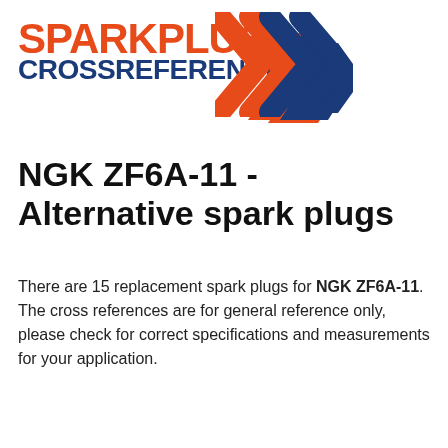[Figure (logo): Spark Plug Cross Reference logo with orange SPARKPLUG text, dark blue CROSSREFERENCE text, and double chevron arrows in orange and blue]
NGK ZF6A-11 - Alternative spark plugs
There are 15 replacement spark plugs for NGK ZF6A-11. The cross references are for general reference only, please check for correct specifications and measurements for your application.